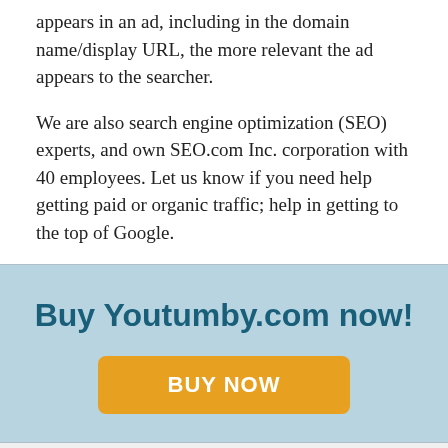appears in an ad, including in the domain name/display URL, the more relevant the ad appears to the searcher.
We are also search engine optimization (SEO) experts, and own SEO.com Inc. corporation with 40 employees. Let us know if you need help getting paid or organic traffic; help in getting to the top of Google.
Buy Youtumby.com now!
BUY NOW
Leave a message